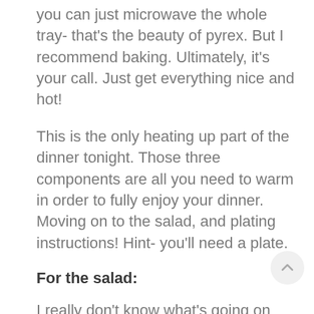you can just microwave the whole tray- that's the beauty of pyrex. But I recommend baking. Ultimately, it's your call. Just get everything nice and hot!
This is the only heating up part of the dinner tonight. Those three components are all you need to warm in order to fully enjoy your dinner. Moving on to the salad, and plating instructions! Hint- you'll need a plate.
For the salad:
I really don't know what's going on over there at Applefield farms, but they are continuously producing the best salad mixes I have tried to date. Ray and his team